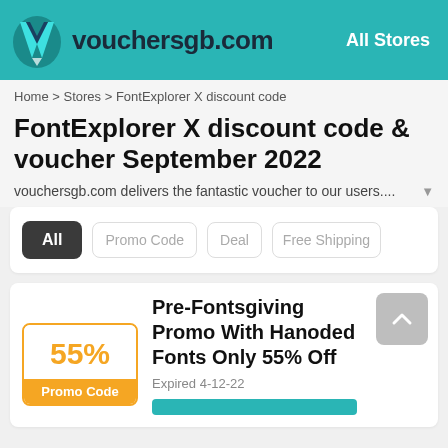vouchersgb.com — All Stores
Home > Stores > FontExplorer X discount code
FontExplorer X discount code & voucher September 2022
vouchersgb.com delivers the fantastic voucher to our users....
All | Promo Code | Deal | Free Shipping
Pre-Fontsgiving Promo With Hanoded Fonts Only 55% Off
Expired 4-12-22